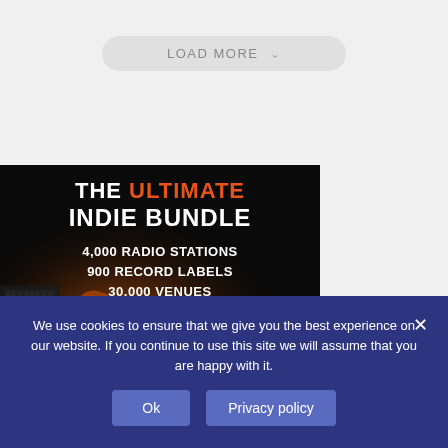LOAD MORE ∨
[Figure (infographic): THE ULTIMATE INDIE BUNDLE advertisement banner showing a musician playing guitar with orange glow, listing: 4,000 RADIO STATIONS, 900 RECORD LABELS, 30,000 VENUES, 1,000 MUSIC BLOGS]
We use cookies to ensure that we give you the best experience on our website. If you continue to use this site we will assume that you are happy with it.
Ok
Privacy policy